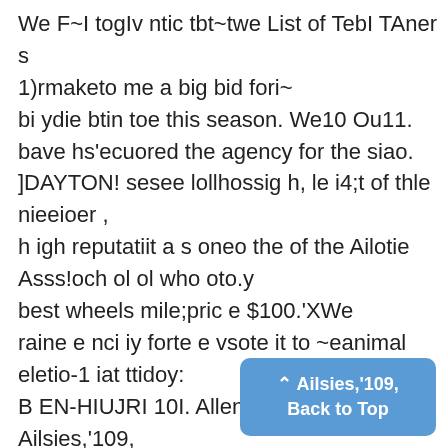We F~I togIv ntic tbt~twe List of TebI TAners
1)rmaketo me a big bid fori~
bi ydie btin toe this season. We10 Ou11.
bave hs'ecuored the agency for the siao.
]DAYTON! sesee lollhossig h, le i4;t of thle nieeioer ,
h igh reputatiit a s oneo the of the Ailotie Asss!och ol ol who oto.y
best wheels mile;pric e $100.'XWe
raine e nci iy forte e vsote it to ~eanimal eletio-1 iat ttidoy:
B EN-HIUJRI 10I. Allen, '99, C. C. Ailsies,'109, 11.